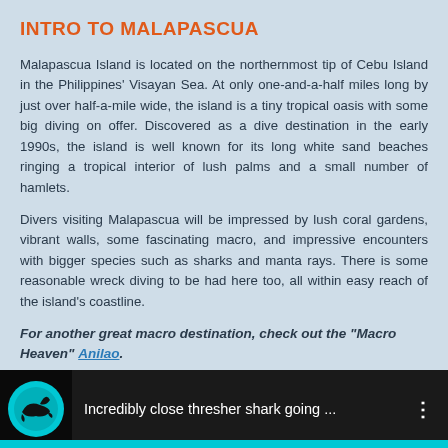INTRO TO MALAPASCUA
Malapascua Island is located on the northernmost tip of Cebu Island in the Philippines' Visayan Sea. At only one-and-a-half miles long by just over half-a-mile wide, the island is a tiny tropical oasis with some big diving on offer. Discovered as a dive destination in the early 1990s, the island is well known for its long white sand beaches ringing a tropical interior of lush palms and a small number of hamlets.
Divers visiting Malapascua will be impressed by lush coral gardens, vibrant walls, some fascinating macro, and impressive encounters with bigger species such as sharks and manta rays. There is some reasonable wreck diving to be had here too, all within easy reach of the island's coastline.
For another great macro destination, check out the "Macro Heaven" Anilao.
[Figure (screenshot): Video thumbnail bar showing a thresher shark video with cyan circle logo, white text 'Incredibly close thresher shark going ...' and three-dot menu icon on dark background with cyan bottom bar.]